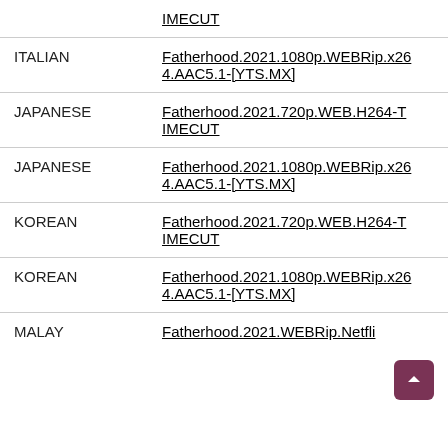| Language | File |
| --- | --- |
|  | IMECUT |
| ITALIAN | Fatherhood.2021.1080p.WEBRip.x264.AAC5.1-[YTS.MX] |
| JAPANESE | Fatherhood.2021.720p.WEB.H264-TIMECUT |
| JAPANESE | Fatherhood.2021.1080p.WEBRip.x264.AAC5.1-[YTS.MX] |
| KOREAN | Fatherhood.2021.720p.WEB.H264-TIMECUT |
| KOREAN | Fatherhood.2021.1080p.WEBRip.x264.AAC5.1-[YTS.MX] |
| MALAY | Fatherhood.2021.WEBRip.Netflix... |